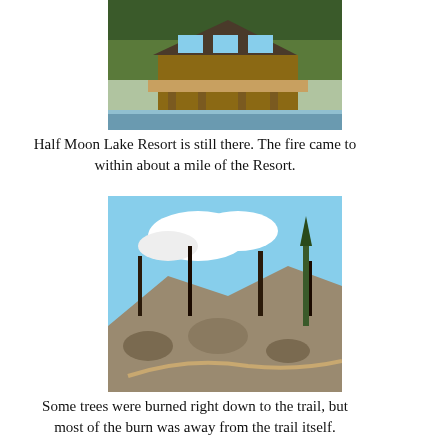[Figure (photo): Photo of Half Moon Lake Resort building with deck, situated at the edge of a lake with trees in background]
Half Moon Lake Resort is still there. The fire came to within about a mile of the Resort.
[Figure (photo): Rocky hillside with burned and surviving trees along a trail]
Some trees were burned right down to the trail, but most of the burn was away from the trail itself.
[Figure (photo): Forest trail area with trees including an osprey nest visible]
The osprey nest is still there and the ospreys are doing fine. The fire came down to the trail a few 100